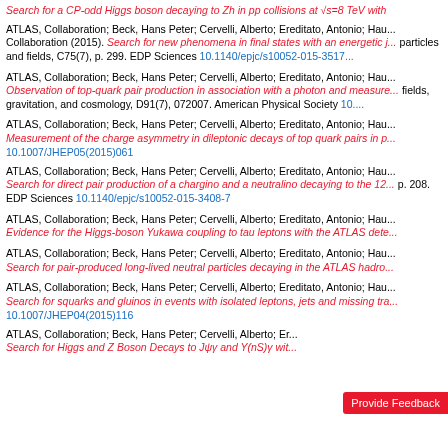ATLAS, Collaboration; Beck, Hans Peter; Cervelli, Alberto; Ereditato, Antonio; Hau... Collaboration (2015). Search for a CP-odd Higgs boson decaying to Zh in pp collisions at √s=8 TeV with...
ATLAS, Collaboration; Beck, Hans Peter; Cervelli, Alberto; Ereditato, Antonio; Hau... Collaboration (2015). Search for new phenomena in final states with an energetic j... particles and fields, C75(7), p. 299. EDP Sciences 10.1140/epjc/s10052-015-3517...
ATLAS, Collaboration; Beck, Hans Peter; Cervelli, Alberto; Ereditato, Antonio; Hau... Observation of top-quark pair production in association with a photon and measure... fields, gravitation, and cosmology, D91(7), 072007. American Physical Society 10....
ATLAS, Collaboration; Beck, Hans Peter; Cervelli, Alberto; Ereditato, Antonio; Hau... Measurement of the charge asymmetry in dileptonic decays of top quark pairs in p... 10.1007/JHEP05(2015)061
ATLAS, Collaboration; Beck, Hans Peter; Cervelli, Alberto; Ereditato, Antonio; Hau... Search for direct pair production of a chargino and a neutralino decaying to the 12... p. 208. EDP Sciences 10.1140/epjc/s10052-015-3408-7
ATLAS, Collaboration; Beck, Hans Peter; Cervelli, Alberto; Ereditato, Antonio; Hau... Evidence for the Higgs-boson Yukawa coupling to tau leptons with the ATLAS dete...
ATLAS, Collaboration; Beck, Hans Peter; Cervelli, Alberto; Ereditato, Antonio; Hau... Search for pair-produced long-lived neutral particles decaying in the ATLAS hadro...
ATLAS, Collaboration; Beck, Hans Peter; Cervelli, Alberto; Ereditato, Antonio; Hau... Search for squarks and gluinos in events with isolated leptons, jets and missing tra... 10.1007/JHEP04(2015)116
ATLAS, Collaboration; Beck, Hans Peter; Cervelli, Alberto; Er... Search for Higgs and Z Boson Decays to Jψy and Y(nS)γ wit...